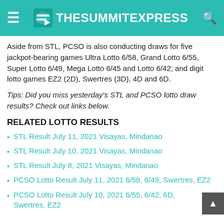TheSummitExpress
Aside from STL, PCSO is also conducting draws for five jackpot-bearing games Ultra Lotto 6/58, Grand Lotto 6/55, Super Lotto 6/49, Mega Lotto 6/45 and Lotto 6/42; and digit lotto games EZ2 (2D), Swertres (3D), 4D and 6D.
Tips: Did you miss yesterday's STL and PCSO lotto draw results? Check out links below.
RELATED LOTTO RESULTS
STL Result July 11, 2021 Visayas, Mindanao
STL Result July 10, 2021 Visayas, Mindanao
STL Result July 8, 2021 Visayas, Mindanao
PCSO Lotto Result July 11, 2021 6/58, 6/49, Swertres, EZ2
PCSO Lotto Result July 10, 2021 6/55, 6/42, 6D, Swertres, EZ2